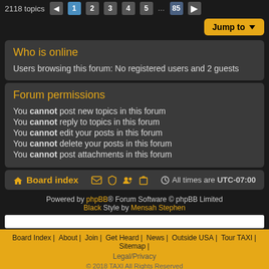2118 topics  1 2 3 4 5 ... 85
Who is online
Users browsing this forum: No registered users and 2 guests
Forum permissions
You cannot post new topics in this forum
You cannot reply to topics in this forum
You cannot edit your posts in this forum
You cannot delete your posts in this forum
You cannot post attachments in this forum
Board index  |  All times are UTC-07:00
Powered by phpBB® Forum Software © phpBB Limited  Black Style by Mensah Stephen
Board Index | About | Join | Get Heard | News | Outside USA | Tour TAXI | Sitemap | Legal/Privacy  © 2018 TAXI All Rights Reserved